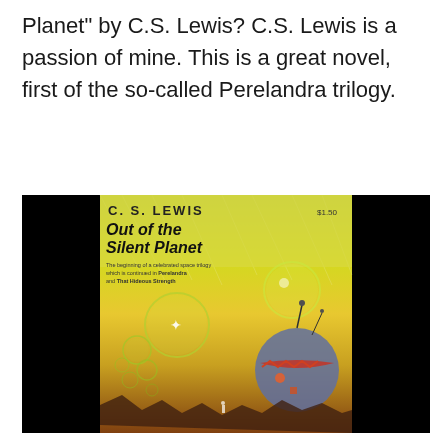Planet" by C.S. Lewis? C.S. Lewis is a passion of mine. This is a great novel, first of the so-called Perelandra trilogy.
[Figure (photo): Book cover of 'Out of the Silent Planet' by C.S. Lewis. The cover shows a science fiction illustration with glowing spherical bubbles, alien landscape with orange/yellow sky, and a large spherical spacecraft with decorative patterns. Text on cover reads: C. S. LEWIS, Out of the Silent Planet, $1.50, and a subtitle about a celebrated space trilogy continued in Perelandra and That Hideous Strength. The image has black borders on left and right sides.]